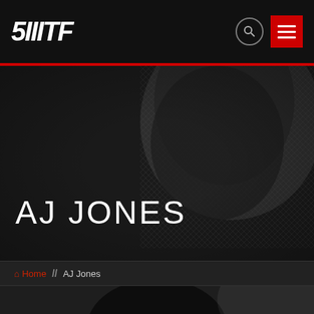[Figure (logo): SMTF logo in white italic bold text on black header bar]
AJ JONES
Home // AJ Jones
[Figure (photo): Close-up photo of AJ Jones wearing a backwards black snapback cap, background shows blurred text 'your job pro... your el...' in a gym setting]